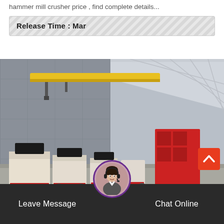hammer mill crusher price , find complete details...
Release Time : Mar
[Figure (photo): Industrial factory floor showing multiple cream-colored hammer mill crushers lined up inside a large warehouse/factory with a yellow overhead crane and grey corrugated walls.]
Leave Message
Chat Online